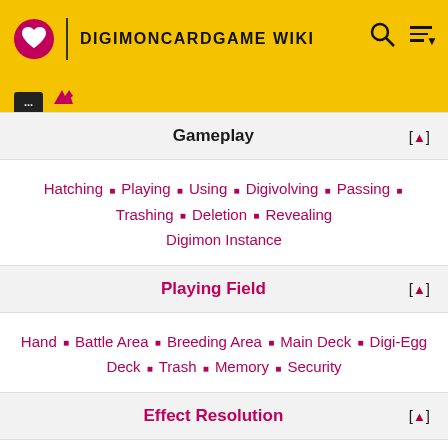DIGIMONCARDGAME WIKI
Gameplay [▲]
Hatching ■ Playing ■ Using ■ Digivolving ■ Passing ■ Trashing ■ Deletion ■ Revealing Digimon Instance
Playing Field [▲]
Hand ■ Battle Area ■ Breeding Area ■ Main Deck ■ Digi-Egg Deck ■ Trash ■ Memory ■ Security
Effect Resolution [▲]
Effect Structure Triggered Effects ■ Rules Processing ■ Interruptive Effects Trigger ■ Pending Activation ■ Activation Related Information
Other Rules [▲]